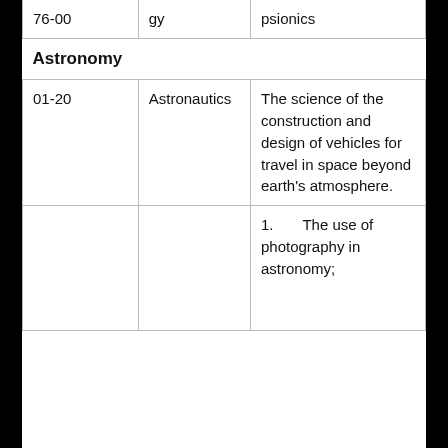| Code | Name | Description |
| --- | --- | --- |
| 76-00 | [Parapsychology] | [Parapsychics/psionics] |
| Astronomy |  |  |
| 01-20 | Astronautics | The science of the construction and design of vehicles for travel in space beyond earth's atmosphere. |
|  |  | 1.      The use of photography in astronomy; |